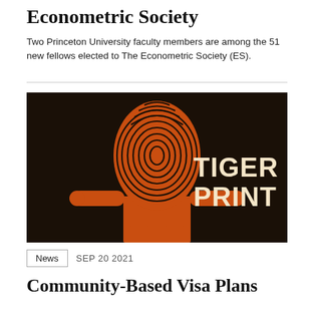Econometric Society
Two Princeton University faculty members are among the 51 new fellows elected to The Econometric Society (ES).
[Figure (illustration): Dark background illustration showing an orange fingerprint shape styled as a person with arms spread, with bold text reading 'TIGER PRINT' on the right side.]
News   SEP 20 2021
Community-Based Visa Plans